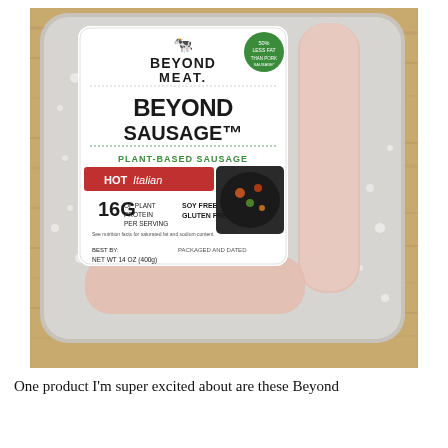[Figure (photo): A package of Beyond Meat Beyond Sausage Hot Italian Plant-Based Sausage sitting in a frosted tray on a wooden surface. The label reads '16G of plant protein per serving', 'Soy Free', 'Gluten Free', 'NET WT 14 OZ (400g)'. There are two frost-covered sausage links visible in the tray beside the label.]
One product I'm super excited about are these Beyond